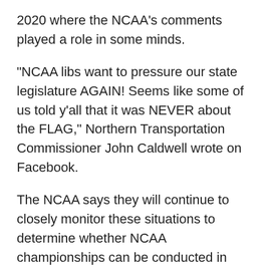2020 where the NCAA's comments played a role in some minds.
“NCAA libs want to pressure our state legislature AGAIN! Seems like some of us told y’all that it was NEVER about the FLAG,” Northern Transportation Commissioner John Caldwell wrote on Facebook.
The NCAA says they will continue to closely monitor these situations to determine whether NCAA championships can be conducted in ways that are welcoming and respectful of all participants.
Y’all Politics will continue to monitor this developing story. Comments from other state leaders will be